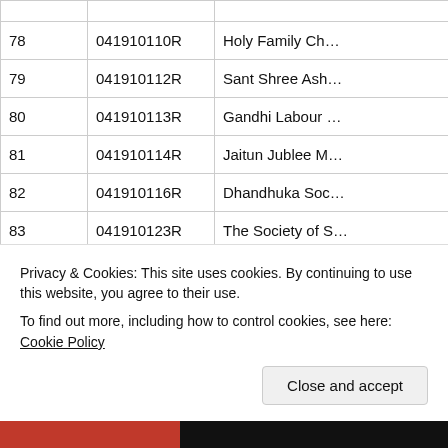| # | Code | Name |
| --- | --- | --- |
| 78 | 041910110R | Holy Family Ch… |
| 79 | 041910112R | Sant Shree Ash… |
| 80 | 041910113R | Gandhi Labour … |
| 81 | 041910114R | Jaitun Jublee M… |
| 82 | 041910116R | Dhandhuka Soc… |
| 83 | 041910123R | The Society of S… |
Privacy & Cookies: This site uses cookies. By continuing to use this website, you agree to their use.
To find out more, including how to control cookies, see here: Cookie Policy